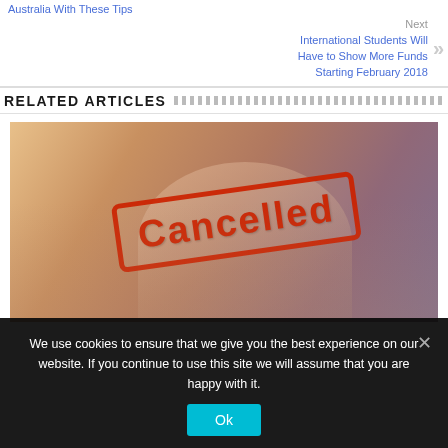Australia With These Tips
Next
International Students Will Have to Show More Funds Starting February 2018
RELATED ARTICLES
[Figure (photo): A hand holding a rubber stamp impression reading 'Cancelled' in red text with a red border box, on a warm-toned blurred background.]
We use cookies to ensure that we give you the best experience on our website. If you continue to use this site we will assume that you are happy with it.